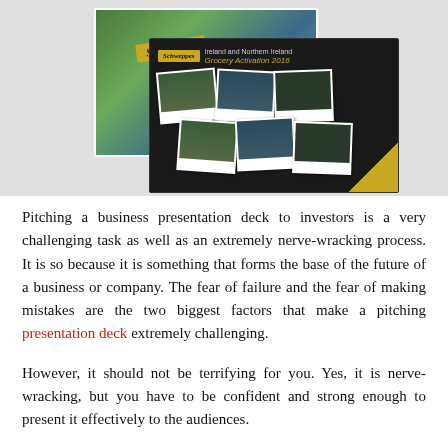[Figure (photo): Two overlapping presentation/booklet covers. The back one is a Schweppes scenic landscape image with cliffs and sea, featuring a yellow Schweppes label. The front one is a dark Schweppes Grocery Activation 2016 booklet showing polaroid-style photos of store shelves arranged on a dark background with a gold corner accent.]
Pitching a business presentation deck to investors is a very challenging task as well as an extremely nerve-wracking process. It is so because it is something that forms the base of the future of a business or company. The fear of failure and the fear of making mistakes are the two biggest factors that make a pitching presentation deck extremely challenging.
However, it should not be terrifying for you. Yes, it is nerve-wracking, but you have to be confident and strong enough to present it effectively to the audiences.